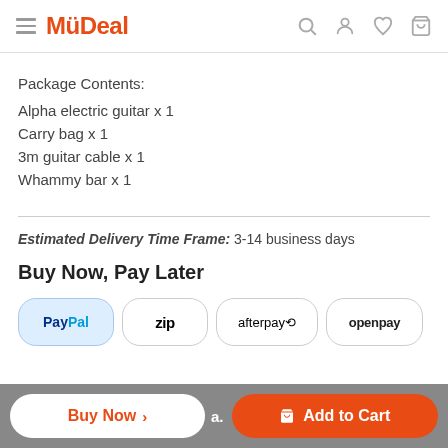MyDeal
Package Contents:
Alpha electric guitar x 1
Carry bag x 1
3m guitar cable x 1
Whammy bar x 1
Estimated Delivery Time Frame: 3-14 business days
Buy Now, Pay Later
[Figure (logo): Payment method logos: PayPal, Zip, Afterpay, Openpay]
Buy Now > | Add to Cart